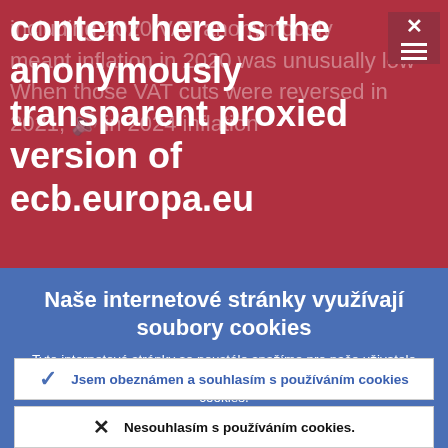[Figure (screenshot): Red-background banner showing anonymously proxied ECB website content with text 'content here is the anonymously transparent proxied version of ecb.europa.eu' overlaid on partially visible article text about VAT and inflation, with a menu/close icon in top-right corner.]
Naše internetové stránky využívají soubory cookies
Tyto internetové stránky se neustále snažíme pro naše uživatele zlepšovat. Za tímto účelem využíváme anonymní údaje poskytované cookies.
› Více informací o tom, jak využíváme cookies
✓ Jsem obeznámen a souhlasím s používáním cookies
✗ Nesouhlasím s používáním cookies.